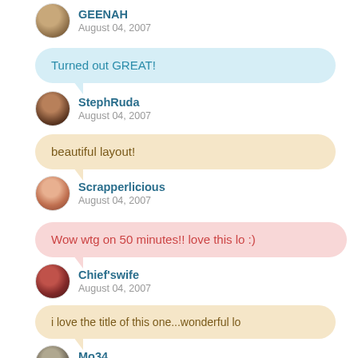GEENAH
August 04, 2007
Turned out GREAT!
StephRuda
August 04, 2007
beautiful layout!
Scrapperlicious
August 04, 2007
Wow wtg on 50 minutes!! love this lo :)
Chief'swife
August 04, 2007
i love the title of this one...wonderful lo
Mo34
August 04, 2007